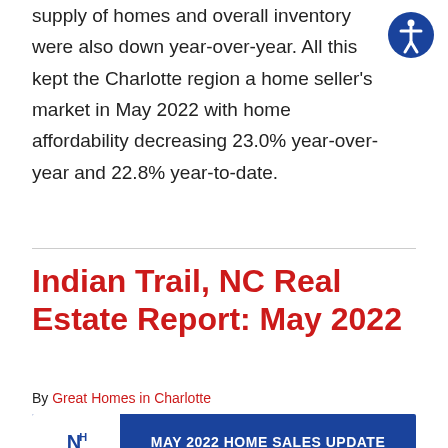supply of homes and overall inventory were also down year-over-year. All this kept the Charlotte region a home seller's market in May 2022 with home affordability decreasing 23.0% year-over-year and 22.8% year-to-date.
Indian Trail, NC Real Estate Report: May 2022
By Great Homes in Charlotte
[Figure (infographic): Blue banner: MAY 2022 HOME SALES UPDATE - INDIAN TRAIL (28079 ZIP CODE) with Nina Hollander logo on left, columns: AVERAGE SALES PRICE | CLOSED SALES | AVERAGE DAYS ON MARKET]